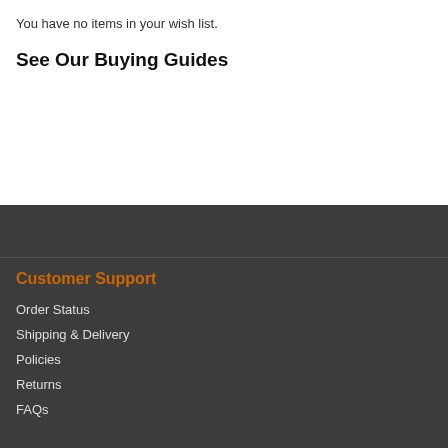You have no items in your wish list.
See Our Buying Guides
Customer Support
Order Status
Shipping & Delivery
Policies
Returns
FAQs